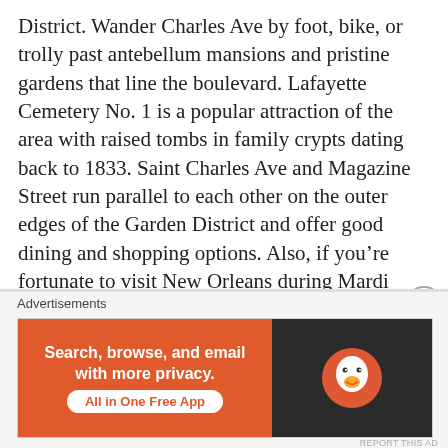District. Wander Charles Ave by foot, bike, or trolly past antebellum mansions and pristine gardens that line the boulevard. Lafayette Cemetery No. 1 is a popular attraction of the area with raised tombs in family crypts dating back to 1833. Saint Charles Ave and Magazine Street run parallel to each other on the outer edges of the Garden District and offer good dining and shopping options. Also, if you’re fortunate to visit New Orleans during Mardi Gras, this is a great, low-key area to catch city-wide and local parades! Plus residents go all out and dress up their homes in full theme: yellow, green, and purple.
Advertisements
[Figure (other): DuckDuckGo advertisement banner with orange left panel reading 'Search, browse, and email with more privacy. All in One Free App' and dark right panel showing DuckDuckGo duck logo]